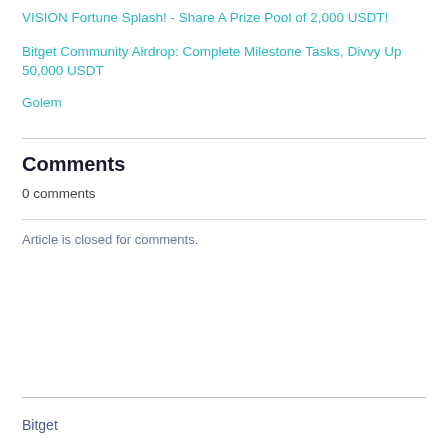VISION Fortune Splash! - Share A Prize Pool of 2,000 USDT!
Bitget Community Airdrop: Complete Milestone Tasks, Divvy Up 50,000 USDT
Golem
Comments
0 comments
Article is closed for comments.
Bitget